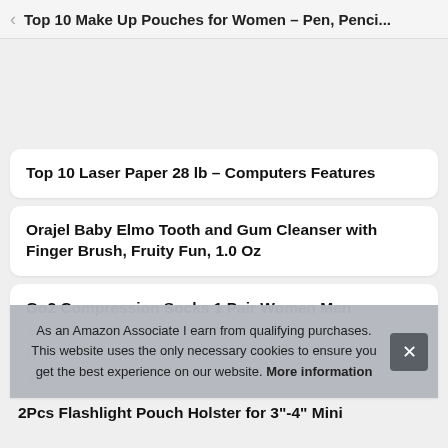Top 10 Make Up Pouches for Women – Pen, Penci...
Top 10 Laser Paper 28 lb – Computers Features
Orajel Baby Elmo Tooth and Gum Cleanser with Finger Brush, Fruity Fun, 1.0 Oz
Go2 Compression Socks 1 Pair Women Men
As an Amazon Associate I earn from qualifying purchases. This website uses the only necessary cookies to ensure you get the best experience on our website. More information
2Pcs Flashlight Pouch Holster for 3"-4" Mini